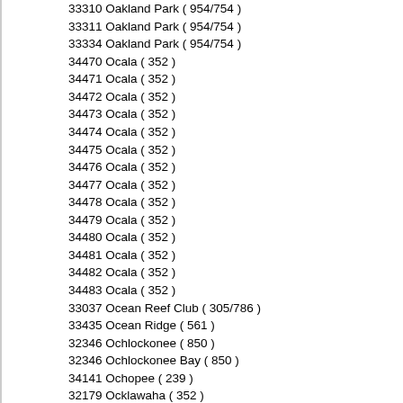33310 Oakland Park ( 954/754 )
33311 Oakland Park ( 954/754 )
33334 Oakland Park ( 954/754 )
34470 Ocala ( 352 )
34471 Ocala ( 352 )
34472 Ocala ( 352 )
34473 Ocala ( 352 )
34474 Ocala ( 352 )
34475 Ocala ( 352 )
34476 Ocala ( 352 )
34477 Ocala ( 352 )
34478 Ocala ( 352 )
34479 Ocala ( 352 )
34480 Ocala ( 352 )
34481 Ocala ( 352 )
34482 Ocala ( 352 )
34483 Ocala ( 352 )
33037 Ocean Reef Club ( 305/786 )
33435 Ocean Ridge ( 561 )
32346 Ochlockonee ( 850 )
32346 Ochlockonee Bay ( 850 )
34141 Ochopee ( 239 )
32179 Ocklawaha ( 352 )
32183 Ocklawaha ( 352 )
34761 Ocoee ( 407/321/689 )
33556 Odessa ( 813 )
33163 Ojus ( 305/786 )